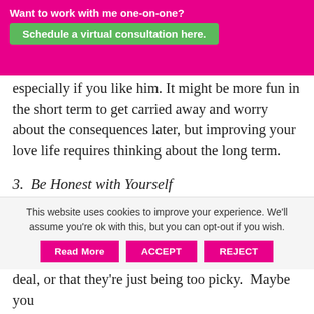Want to work with me one-on-one? Schedule a virtual consultation here.
especially if you like him. It might be more fun in the short term to get carried away and worry about the consequences later, but improving your love life requires thinking about the long term.
3. Be Honest with Yourself
Even if you are paying attention to his faults, you might not want to take them seriously. Women tell themselves the man's flaws aren't that big of a deal, or that they're just being too picky.  Maybe you
This website uses cookies to improve your experience. We'll assume you're ok with this, but you can opt-out if you wish.
Read More  ACCEPT  REJECT